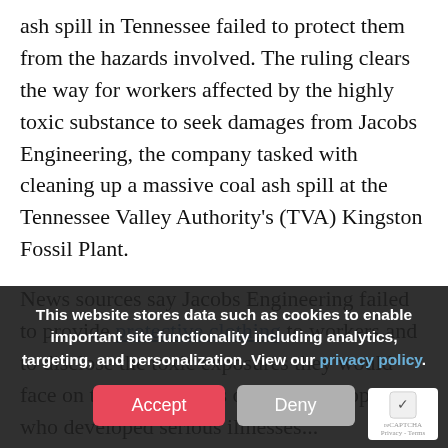ash spill in Tennessee failed to protect them from the hazards involved. The ruling clears the way for workers affected by the highly toxic substance to seek damages from Jacobs Engineering, the company tasked with cleaning up a massive coal ash spill at the Tennessee Valley Authority's (TVA) Kingston Fossil Plant.
News sources say Jacobs Engineering failed to provide protective clothing to workers and to disclose the toxic exposures they would face on the job. Dozens of the 900 people who developed serious illnesses...
This website stores data such as cookies to enable important site functionality including analytics, targeting, and personalization. View our privacy policy.